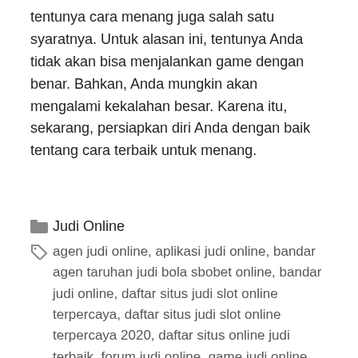tentunya cara menang juga salah satu syaratnya. Untuk alasan ini, tentunya Anda tidak akan bisa menjalankan game dengan benar. Bahkan, Anda mungkin akan mengalami kekalahan besar. Karena itu, sekarang, persiapkan diri Anda dengan baik tentang cara terbaik untuk menang.
Judi Online
agen judi online, aplikasi judi online, bandar agen taruhan judi bola sbobet online, bandar judi online, daftar situs judi slot online terpercaya, daftar situs judi slot online terpercaya 2020, daftar situs online judi terbaik, forum judi online, game judi online, judi bola online, judi casino online, judi casino online